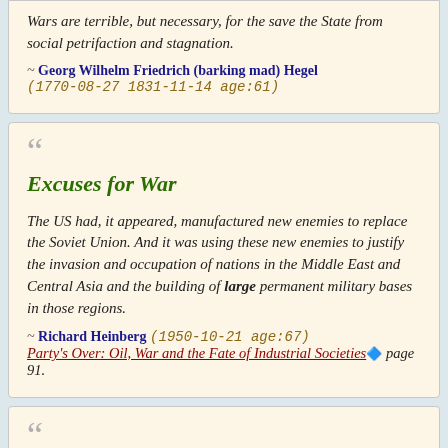Wars are terrible, but necessary, for the save the State from social petrifaction and stagnation.
~ Georg Wilhelm Friedrich (barking mad) Hegel (1770-08-27 1831-11-14 age:61)
Excuses for War
The US had, it appeared, manufactured new enemies to replace the Soviet Union. And it was using these new enemies to justify the invasion and occupation of nations in the Middle East and Central Asia and the building of large permanent military bases in those regions.
~ Richard Heinberg (1950-10-21 age:67) Party's Over: Oil, War and the Fate of Industrial Societies page 91.
Book Burning